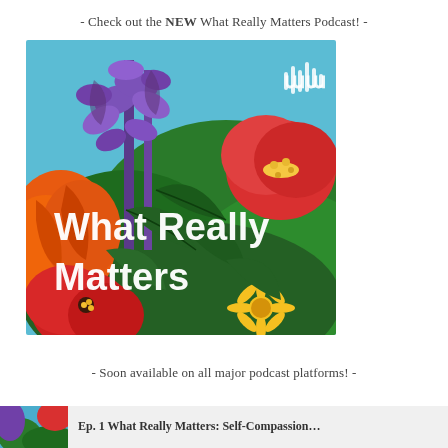- Check out the NEW What Really Matters Podcast! -
[Figure (illustration): Colorful illustrated floral podcast cover art with purple, red, orange, and yellow flowers on green foliage and blue sky background. White text reads 'What Really Matters' with a soundwave logo in the top right corner.]
- Soon available on all major podcast platforms! -
[Figure (illustration): Partial thumbnail image at the bottom of the page, appears to be a continuation of podcast-related imagery]